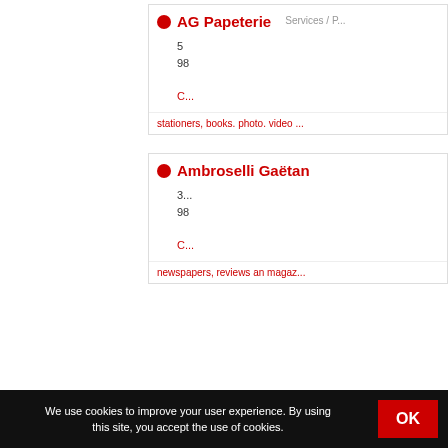AG Papeterie
Services / P...
5
98
C...
stationers, books. photo. video ...
Ambroselli Gaëtan
3...
98
C...
newspapers, reviews an magaz...
We use cookies to improve your user experience. By using this site, you accept the use of cookies.